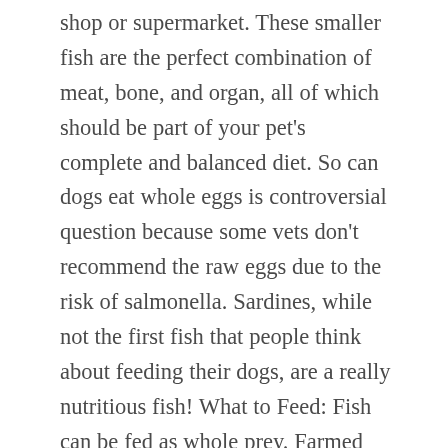shop or supermarket. These smaller fish are the perfect combination of meat, bone, and organ, all of which should be part of your pet's complete and balanced diet. So can dogs eat whole eggs is controversial question because some vets don't recommend the raw eggs due to the risk of salmonella. Sardines, while not the first fish that people think about feeding their dogs, are a really nutritious fish! What to Feed: Fish can be fed as whole prey. Farmed fish are also often fed antibiotics and dyes to colour the flesh, both of which you would not wish to feed your dog! How Much Raw Fish Can Dogs Eat? As a result, the larger the fish, the heavier laden it is with toxins. With sardines, however, it's easier to avoid these risks than it is with other fish. In general, fish that has been deboned, cleaned properly, and thoroughly cooked, is safe for canine